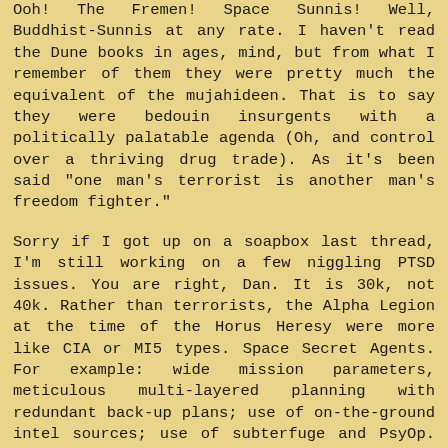Ooh! The Fremen! Space Sunnis! Well, Buddhist-Sunnis at any rate. I haven't read the Dune books in ages, mind, but from what I remember of them they were pretty much the equivalent of the mujahideen. That is to say they were bedouin insurgents with a politically palatable agenda (Oh, and control over a thriving drug trade). As it's been said "one man's terrorist is another man's freedom fighter."
Sorry if I got up on a soapbox last thread, I'm still working on a few niggling PTSD issues. You are right, Dan. It is 30k, not 40k. Rather than terrorists, the Alpha Legion at the time of the Horus Heresy were more like CIA or MI5 types. Space Secret Agents. For example: wide mission parameters, meticulous multi-layered planning with redundant back-up plans; use of on-the-ground intel sources; use of subterfuge and PsyOp. Their fall to Chaos may be ascribed to the 'youngest sibling syndrome' of their Primarch.
As for publish and be damned, I totally agree. If I wrote as fiction I wouldn't have to submit the manuscript to the army. Hell, Richard Marcinko got away with it in his Rogue Warrior books (utter wastes of otherwise perfectly useful